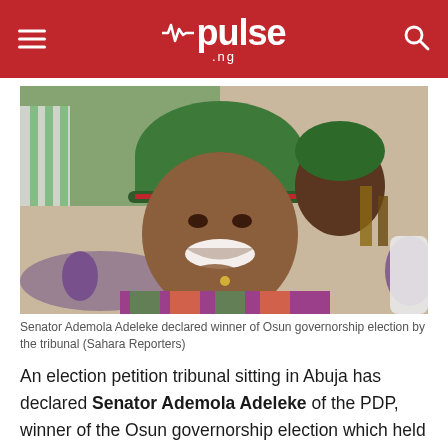pulse .ng
[Figure (photo): Senator Ademola Adeleke smiling, wearing a green cap and colorful African print shirt, at what appears to be an event. Another person visible in the background.]
Senator Ademola Adeleke declared winner of Osun governorship election by the tribunal (Sahara Reporters)
An election petition tribunal sitting in Abuja has declared Senator Ademola Adeleke of the PDP, winner of the Osun governorship election which held on Saturday, September 22, 2018.